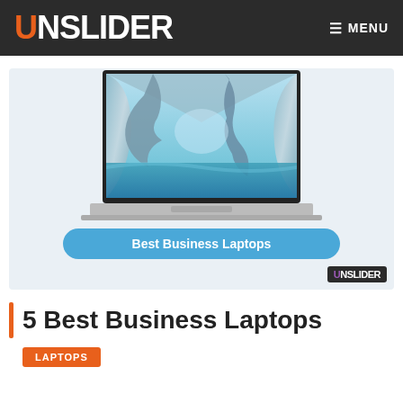UNSLIDER — MENU
[Figure (photo): Dell laptop open showing a cave/marble scene on screen, with 'Best Business Laptops' blue button overlay and Unslider watermark logo in bottom-right corner]
5 Best Business Laptops
LAPTOPS